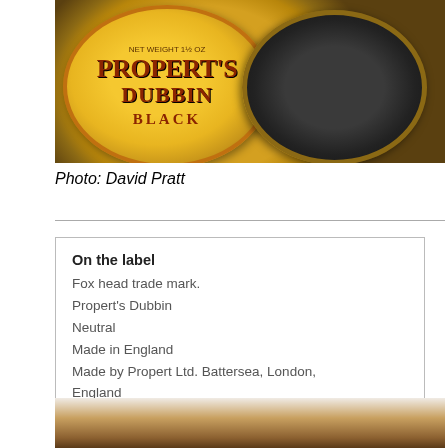[Figure (photo): Open tin of Propert's Dubbin Black - yellow and orange tin lid with fox head trade mark visible, alongside the open tin showing dark black dubbin content]
Photo: David Pratt
| On the label |
| --- |
| Fox head trade mark. |
| Propert's Dubbin |
| Neutral |
| Made in England |
| Made by Propert Ltd. Battersea, London, England |
[Figure (photo): Partial view of another tin at the bottom of the page]